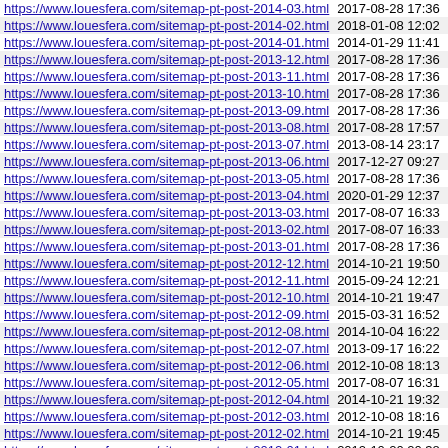| URL | Date |
| --- | --- |
| https://www.louesfera.com/sitemap-pt-post-2014-03.html | 2017-08-28 17:36 |
| https://www.louesfera.com/sitemap-pt-post-2014-02.html | 2018-01-08 12:02 |
| https://www.louesfera.com/sitemap-pt-post-2014-01.html | 2014-01-29 11:41 |
| https://www.louesfera.com/sitemap-pt-post-2013-12.html | 2017-08-28 17:36 |
| https://www.louesfera.com/sitemap-pt-post-2013-11.html | 2017-08-28 17:36 |
| https://www.louesfera.com/sitemap-pt-post-2013-10.html | 2017-08-28 17:36 |
| https://www.louesfera.com/sitemap-pt-post-2013-09.html | 2017-08-28 17:36 |
| https://www.louesfera.com/sitemap-pt-post-2013-08.html | 2017-08-28 17:57 |
| https://www.louesfera.com/sitemap-pt-post-2013-07.html | 2013-08-14 23:17 |
| https://www.louesfera.com/sitemap-pt-post-2013-06.html | 2017-12-27 09:27 |
| https://www.louesfera.com/sitemap-pt-post-2013-05.html | 2017-08-28 17:36 |
| https://www.louesfera.com/sitemap-pt-post-2013-04.html | 2020-01-29 12:37 |
| https://www.louesfera.com/sitemap-pt-post-2013-03.html | 2017-08-07 16:33 |
| https://www.louesfera.com/sitemap-pt-post-2013-02.html | 2017-08-07 16:33 |
| https://www.louesfera.com/sitemap-pt-post-2013-01.html | 2017-08-28 17:36 |
| https://www.louesfera.com/sitemap-pt-post-2012-12.html | 2014-10-21 19:50 |
| https://www.louesfera.com/sitemap-pt-post-2012-11.html | 2015-09-24 12:21 |
| https://www.louesfera.com/sitemap-pt-post-2012-10.html | 2014-10-21 19:47 |
| https://www.louesfera.com/sitemap-pt-post-2012-09.html | 2015-03-31 16:52 |
| https://www.louesfera.com/sitemap-pt-post-2012-08.html | 2014-10-04 16:22 |
| https://www.louesfera.com/sitemap-pt-post-2012-07.html | 2013-09-17 16:22 |
| https://www.louesfera.com/sitemap-pt-post-2012-06.html | 2012-10-08 18:13 |
| https://www.louesfera.com/sitemap-pt-post-2012-05.html | 2017-08-07 16:31 |
| https://www.louesfera.com/sitemap-pt-post-2012-04.html | 2014-10-21 19:32 |
| https://www.louesfera.com/sitemap-pt-post-2012-03.html | 2012-10-08 18:16 |
| https://www.louesfera.com/sitemap-pt-post-2012-02.html | 2014-10-21 19:45 |
| https://www.louesfera.com/sitemap-pt-post-2012-01.html | 2012-10-20 20:38 |
| https://www.louesfera.com/sitemap-pt-post-2011-12.html | 2014-10-21 19:42 |